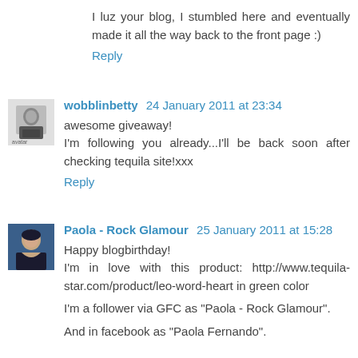I luz your blog, I stumbled here and eventually made it all the way back to the front page :)
Reply
wobblinbetty 24 January 2011 at 23:34
awesome giveaway!
I'm following you already...I'll be back soon after checking tequila site!xxx
Reply
Paola - Rock Glamour 25 January 2011 at 15:28
Happy blogbirthday!
I'm in love with this product: http://www.tequila-star.com/product/leo-word-heart in green color
I'm a follower via GFC as "Paola - Rock Glamour".
And in facebook as "Paola Fernando".